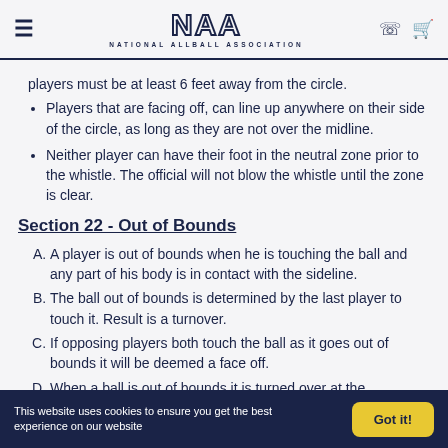NAA - NATIONAL ALLBALL ASSOCIATION
players must be at least 6 feet away from the circle.
Players that are facing off, can line up anywhere on their side of the circle, as long as they are not over the midline.
Neither player can have their foot in the neutral zone prior to the whistle. The official will not blow the whistle until the zone is clear.
Section 22 - Out of Bounds
A. A player is out of bounds when he is touching the ball and any part of his body is in contact with the sideline.
B. The ball out of bounds is determined by the last player to touch it. Result is a turnover.
C. If opposing players both touch the ball as it goes out of bounds it will be deemed a face off.
D. When a ball is out of bounds it is turned over at the
This website uses cookies to ensure you get the best experience on our website